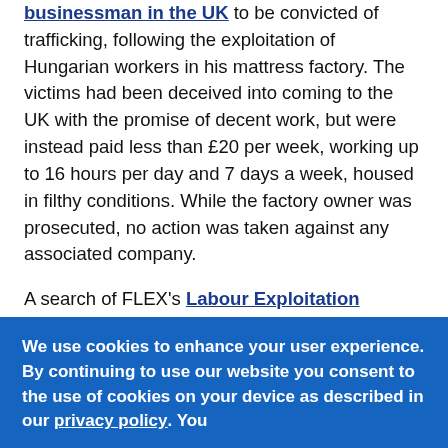businessman in the UK to be convicted of trafficking, following the exploitation of Hungarian workers in his mattress factory. The victims had been deceived into coming to the UK with the promise of decent work, but were instead paid less than £20 per week, working up to 16 hours per day and 7 days a week, housed in filthy conditions. While the factory owner was prosecuted, no action was taken against any associated company.
A search of FLEX's Labour Exploitation Accountability Hub shows how much the UK can learn from other countries leading the way in holding business accountable for exploitation in their supply chains.
Belgium is one of the few countries where companies, alongside the people running them,
We use cookies to enhance your user experience. By continuing to use our website you consent to the use of cookies on your device as described in our privacy policy. You